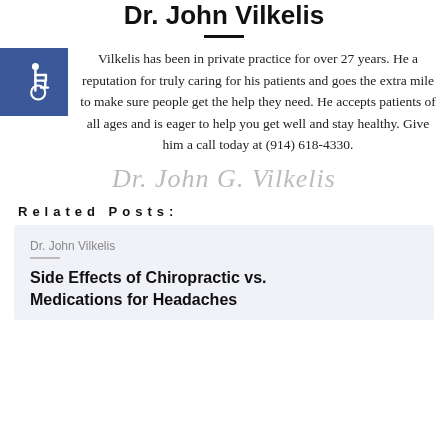Dr. John Vilkelis
Vilkelis has been in private practice for over 27 years. He a reputation for truly caring for his patients and goes the extra mile to make sure people get the help they need. He accepts patients of all ages and is eager to help you get well and stay healthy. Give him a call today at (914) 618-4330.
[Figure (illustration): Cursive signature watermark reading 'Dr. John G. Vilkelis' in light gray]
Related Posts:
Dr. John Vilkelis
Side Effects of Chiropractic vs. Medications for Headaches